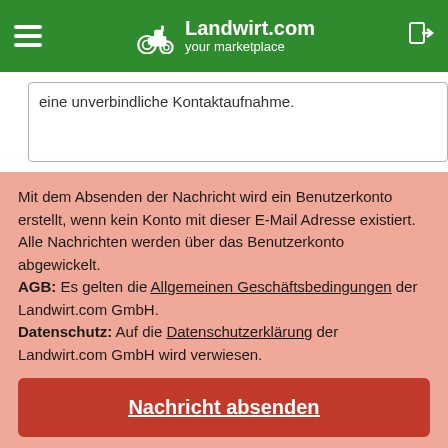Landwirt.com your marketplace
eine unverbindliche Kontaktaufnahme.
Mit dem Absenden der Nachricht wird ein Benutzerkonto erstellt, wenn kein Konto mit dieser E-Mail Adresse existiert. Alle Nachrichten werden über das Benutzerkonto abgewickelt. AGB: Es gelten die Allgemeinen Geschäftsbedingungen der Landwirt.com GmbH. Datenschutz: Auf die Datenschutzerklärung der Landwirt.com GmbH wird verwiesen.
Nachricht absenden
Rückruf anfordern